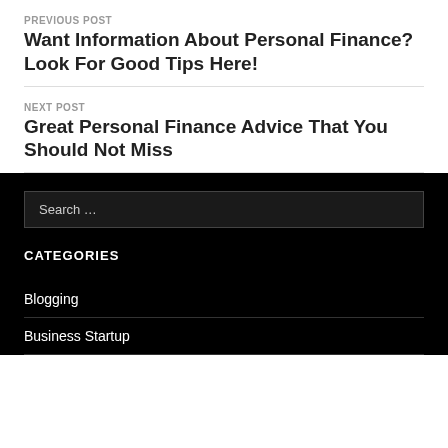PREVIOUS POST
Want Information About Personal Finance? Look For Good Tips Here!
NEXT POST
Great Personal Finance Advice That You Should Not Miss
Search …
CATEGORIES
Blogging
Business Startup